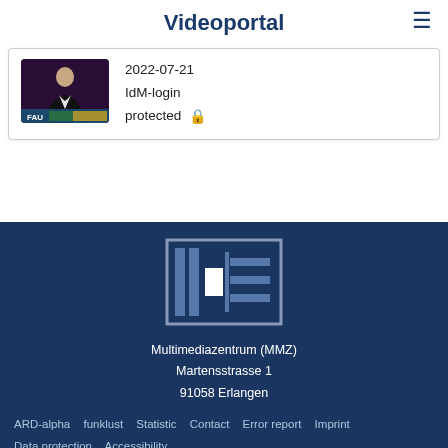Videoportal
[Figure (screenshot): Video thumbnail showing a man in a suit against a dark background with FAU logo overlay]
2022-07-21
IdM-login
protected 🔒
[Figure (logo): MMZ (Multimediazentrum) logo — stylized rectangular bracket and grid graphic in blue/grey on dark blue background]
Multimediazentrum (MMZ)
Martensstrasse 1
91058 Erlangen
ARD-alpha   funklust   Statistic   Contact   Error report   Imprint   Data protection   Accessibility